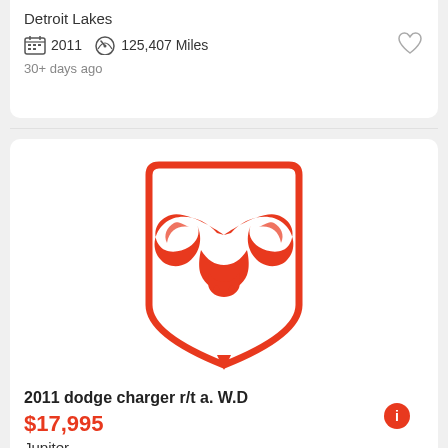Detroit Lakes
2011  125,407 Miles
30+ days ago
[Figure (logo): Ram truck brand logo — red ram head shield emblem on white background]
2011 dodge charger r/t a. W.D
$17,995
Jupiter
2011  125,650 Miles
30+ days ago